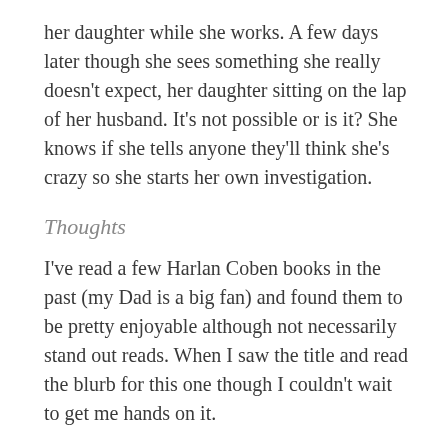her daughter while she works. A few days later though she sees something she really doesn't expect, her daughter sitting on the lap of her husband. It's not possible or is it? She knows if she tells anyone they'll think she's crazy so she starts her own investigation.
Thoughts
I've read a few Harlan Coben books in the past (my Dad is a big fan) and found them to be pretty enjoyable although not necessarily stand out reads. When I saw the title and read the blurb for this one though I couldn't wait to get me hands on it.
Pretty much from the start of this story I wasn't too sure what to think about it and this feeling continued throughout. It's an interesting idea, a supposedly